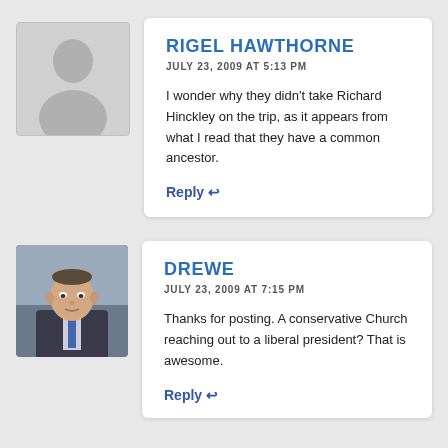RIGEL HAWTHORNE
JULY 23, 2009 AT 5:13 PM
I wonder why they didn't take Richard Hinckley on the trip, as it appears from what I read that they have a common ancestor.
Reply ↩
DREWE
JULY 23, 2009 AT 7:15 PM
Thanks for posting. A conservative Church reaching out to a liberal president? That is awesome.
Reply ↩